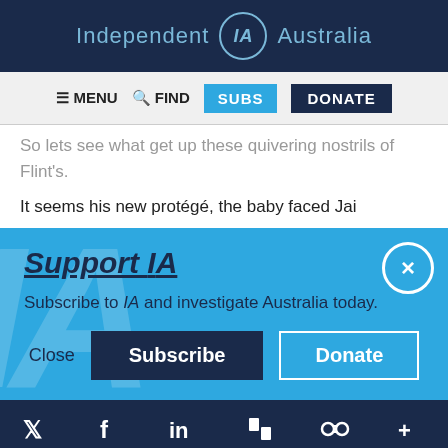Independent IA Australia
≡ MENU  🔍 FIND  SUBS  DONATE
So lets see what get up these quivering nostrils of Flint's.
It seems his new protégé, the baby faced Jai
Support IA
Subscribe to IA and investigate Australia today.
Close  Subscribe  Donate
Twitter  Facebook  LinkedIn  Flipboard  Link  +